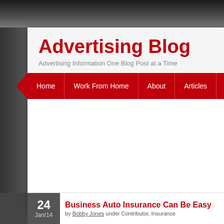Advertising Blog
Advertising Information One Blog Post at a Time
Home | Work From Home | About | Articles
Business Auto Insurance Can Be Easy
by Bobby Jones under Contributor, Insurance